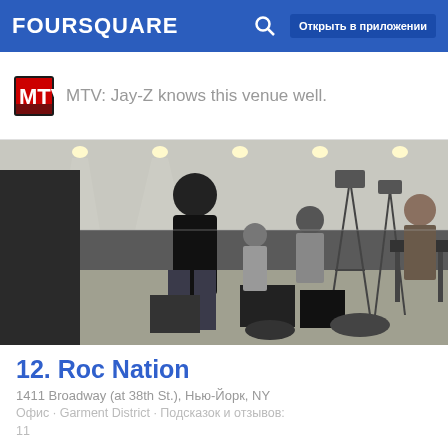FOURSQUARE   Открыть в приложении
MTV: Jay-Z knows this venue well.
[Figure (photo): Indoor rehearsal or setup space with people standing, music equipment, stands, and lighting on ceiling]
12. Roc Nation
1411 Broadway (at 38th St.), Нью-Йорк, NY
Офис · Garment District · Подсказок и отзывов: 11
MTV: Jay-Z is the founder!